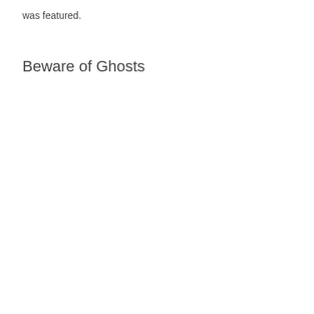was featured.
Beware of Ghosts